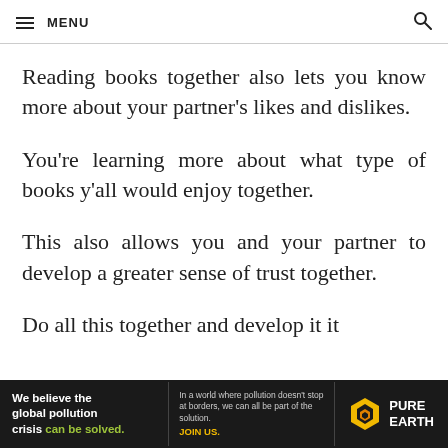≡ MENU
Reading books together also lets you know more about your partner's likes and dislikes.
You're learning more about what type of books y'all would enjoy together.
This also allows you and your partner to develop a greater sense of trust together.
Do all this together and develop it it...
[Figure (other): Pure Earth advertisement banner: 'We believe the global pollution crisis can be solved.' with tagline about world pollution and JOIN US call to action, with Pure Earth logo.]